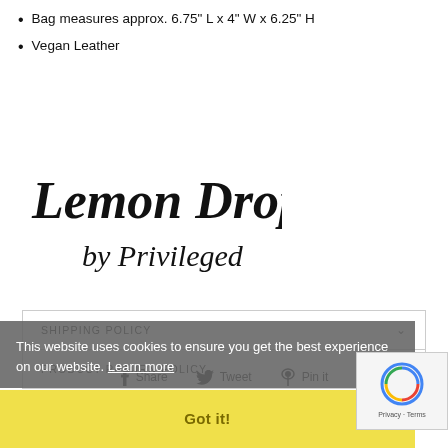Bag measures approx. 6.75" L x 4" W x 6.25" H
Vegan Leather
[Figure (logo): Lemon Drop by Privileged brand logo in handwritten/script style black text]
SHIPPING POLICY
PRODUCT RETURN POLICY
This website uses cookies to ensure you get the best experience on our website. Learn more
Got it!
Share  Tweet  Pin it